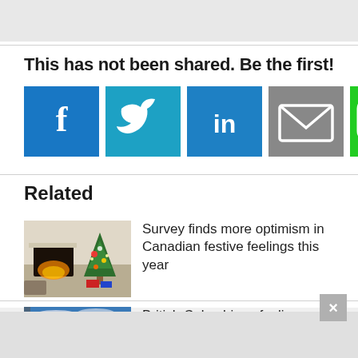This has not been shared. Be the first!
[Figure (infographic): Social sharing buttons: Facebook (blue), Twitter (light blue), LinkedIn (blue), Email (gray), SMS (green)]
Related
[Figure (photo): Christmas scene with fireplace and decorated Christmas tree indoors]
Survey finds more optimism in Canadian festive feelings this year
[Figure (photo): Aerial view of ocean with dramatic clouds, taken from airplane window]
British Columbians feeling heightened travel anxiety as